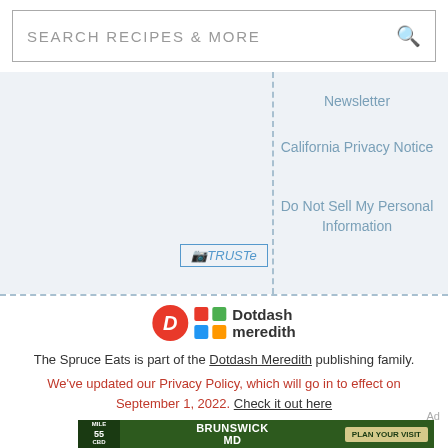SEARCH RECIPES & MORE
Newsletter
California Privacy Notice
Do Not Sell My Personal Information
[Figure (logo): TRUSTe certification badge]
[Figure (logo): Dotdash Meredith logo with orange D circle and colorful grid icon]
The Spruce Eats is part of the Dotdash Meredith publishing family.
We've updated our Privacy Policy, which will go in to effect on September 1, 2022. Check it out here
Ad
[Figure (photo): Brunswick MD advertisement banner: Mile 55 sign, Brunswick MD text with outdoor activity icons, Plan Your Visit button]